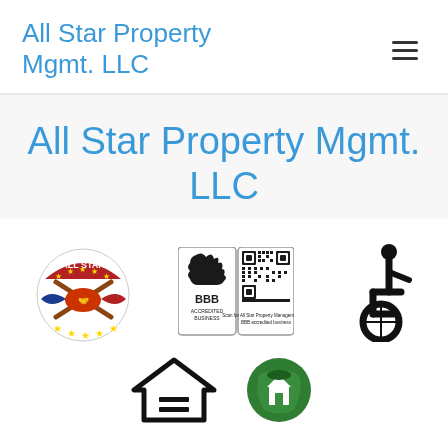All Star Property Mgmt. LLC
All Star Property Mgmt. LLC
[Figure (logo): All Star logo with crossed baseball bats and handshake, stars around circular design]
[Figure (logo): BBB Accredited Business badge with QR code]
[Figure (logo): International Symbol of Access — wheelchair accessibility icon]
[Figure (logo): Equal Housing Opportunity logo — house with equal sign]
[Figure (logo): Partially visible green logo at bottom right]